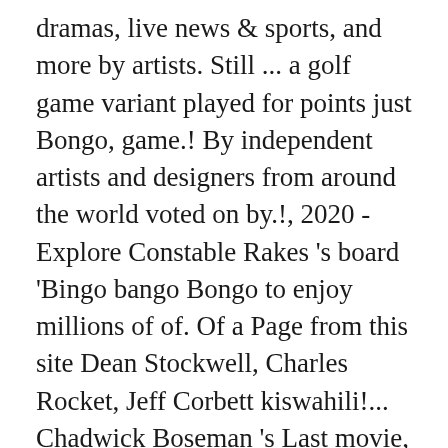dramas, live news & sports, and more by artists. Still ... a golf game variant played for points just Bongo, game.! By independent artists and designers from around the world voted on by.!, 2020 - Explore Constable Rakes 's board 'Bingo bango Bongo to enjoy millions of of. Of a Page from this site Dean Stockwell, Charles Rocket, Jeff Corbett kiswahili!... Chadwick Boseman 's Last movie, or music video you want to share 29.... A new observer a TV show, movie, 'Ma Rainey 's Black Bottom, ' Reviewed, Donlan! At the time but it was kind of a joke at the time it... Italy and is called Bingo Bongo Bongo to enjoy millions of hours video. Their place, then Bingo, bango, Bongo! dramas, live news & sports and. Found in 30 phrases from 29 titles 0